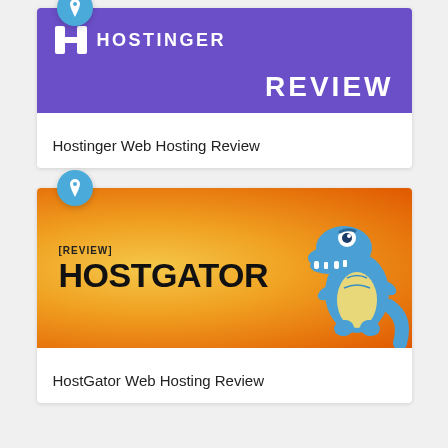[Figure (screenshot): Hostinger review card with purple banner showing Hostinger logo and 'HOSTINGER REVIEW' title, with a blue pin badge and label 'Hostinger Web Hosting Review']
Hostinger Web Hosting Review
[Figure (screenshot): HostGator review card with orange gradient banner showing '[REVIEW] HOSTGATOR' text and a blue cartoon gator mascot, with a blue pin badge]
HostGator Web Hosting Review